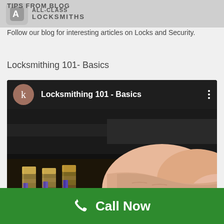TIPS FROM BLOG
Follow our blog for interesting articles on Locks and Security.
Locksmithing 101- Basics
[Figure (screenshot): Screenshot of a video post titled 'Locksmithing 101 - Basics' with an avatar circle showing 'k', three-dot menu icon, and a thumbnail showing a close-up of a lock being picked by a hand.]
Call Now